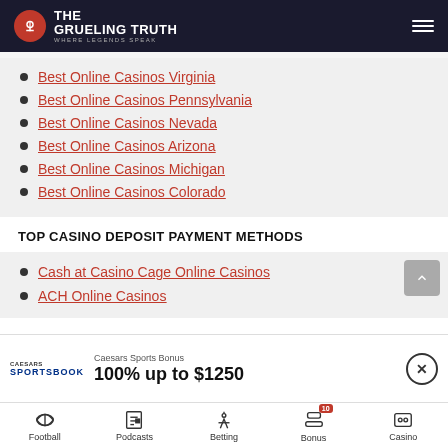The Grueling Truth — Where Legends Speak
Best Online Casinos Virginia
Best Online Casinos Pennsylvania
Best Online Casinos Nevada
Best Online Casinos Arizona
Best Online Casinos Michigan
Best Online Casinos Colorado
TOP CASINO DEPOSIT PAYMENT METHODS
Cash at Casino Cage Online Casinos
ACH Online Casinos
Caesars Sports Bonus
100% up to $1250
Football | Podcasts | Betting | Bonus 10 | Casino